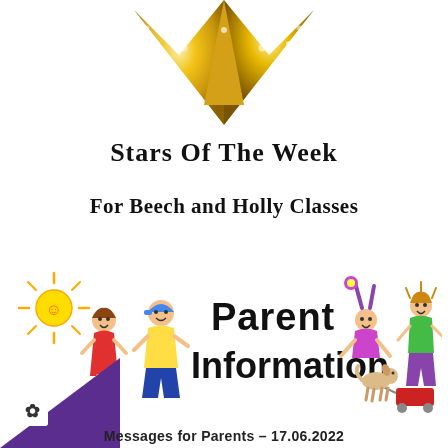[Figure (illustration): Gold star trophy / award icon — top half of a gold star with metallic shine, centered at top of page]
Stars Of The Week
For Beech and Holly Classes
[Figure (illustration): Colorful cartoon children banner with text 'Parent Information' — stick figure kids, a sun, a dog with wagon; decorative school newsletter header image]
Messages for Parents – 17.06.2022